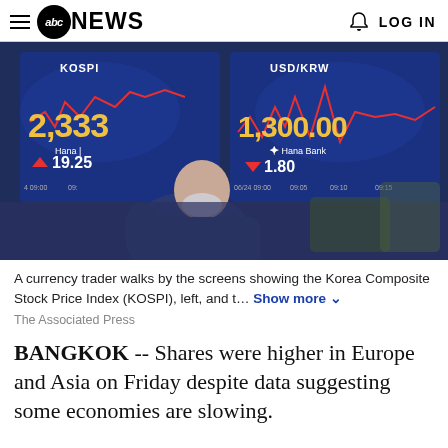abc NEWS  LOG IN
[Figure (photo): A currency trader walks by screens showing the Korea Composite Stock Price Index (KOSPI) at 2,333 up 19.25, and USD/KRW at 1,300.00 down 1.80 at Hana Bank]
A currency trader walks by the screens showing the Korea Composite Stock Price Index (KOSPI), left, and t... Show more
The Associated Press
BANGKOK -- Shares were higher in Europe and Asia on Friday despite data suggesting some economies are slowing.